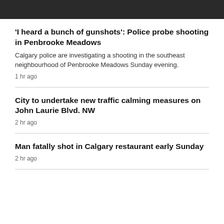[Figure (photo): Dark/black image strip at top of page]
'I heard a bunch of gunshots': Police probe shooting in Penbrooke Meadows
Calgary police are investigating a shooting in the southeast neighbourhood of Penbrooke Meadows Sunday evening.
1 hr ago
City to undertake new traffic calming measures on John Laurie Blvd. NW
2 hr ago
Man fatally shot in Calgary restaurant early Sunday
2 hr ago